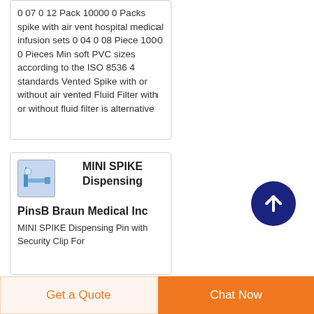0 07 0 12 Pack 10000 0 Packs spike with air vent hospital medical infusion sets 0 04 0 08 Piece 1000 0 Pieces Min soft PVC sizes according to the ISO 8536 4 standards Vented Spike with or without air vented Fluid Filter with or without fluid filter is alternative
[Figure (photo): Small product photo showing medical dispensing pin/spike device with blue tubing]
MINI SPIKE Dispensing PinsB Braun Medical Inc
MINI SPIKE Dispensing Pin with Security Clip For
[Figure (other): Scroll-to-top circular button with upward arrow icon, dark navy blue background]
Get a Quote | Chat Now